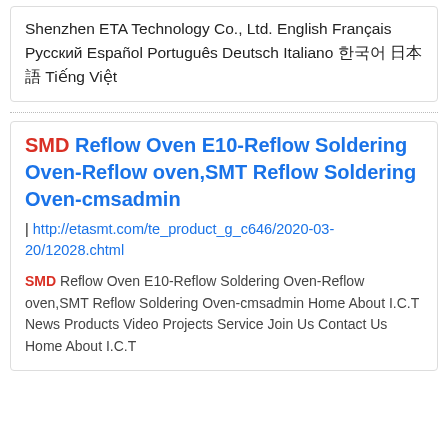Shenzhen ETA Technology Co., Ltd. English Français Русский Español Português Deutsch Italiano 한국어 日本語 Tiếng Việt
SMD Reflow Oven E10-Reflow Soldering Oven-Reflow oven,SMT Reflow Soldering Oven-cmsadmin
| http://etasmt.com/te_product_g_c646/2020-03-20/12028.chtml
SMD Reflow Oven E10-Reflow Soldering Oven-Reflow oven,SMT Reflow Soldering Oven-cmsadmin Home About I.C.T News Products Video Projects Service Join Us Contact Us Home About I.C.T